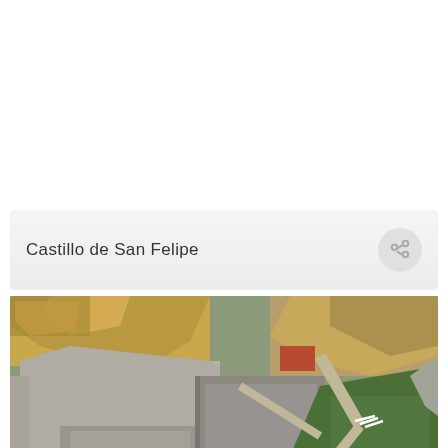Castillo de San Felipe
[Figure (photo): Aerial/satellite view of Castillo de San Felipe fortress, showing star-shaped fortification walls, green courtyards, stone buildings, and surrounding rocky terrain from above.]